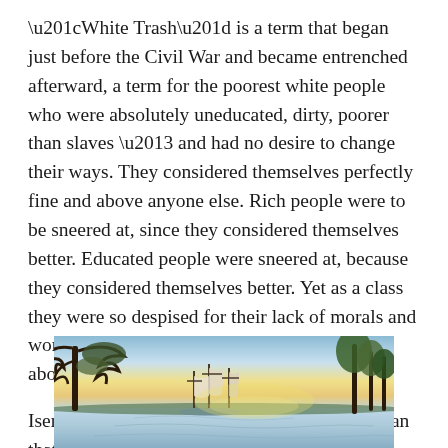“White Trash” is a term that began just before the Civil War and became entrenched afterward, a term for the poorest white people who were absolutely uneducated, dirty, poorer than slaves – and had no desire to change their ways. They considered themselves perfectly fine and above anyone else. Rich people were to be sneered at, since they considered themselves better. Educated people were sneered at, because they considered themselves better. Yet as a class they were so despised for their lack of morals and work ethic, even slaves considered themselves above Poor White Trash.
Isenberg feels the concept goes back further than that. Who did England send over to America to pad out their
[Figure (illustration): A landscape painting showing a waterfront scene at dusk or dawn with tall trees silhouetted on the left and right sides, sailing ships with masts visible on a calm body of water, and a colorful sky with yellow, blue, and peach tones reflected in the water.]